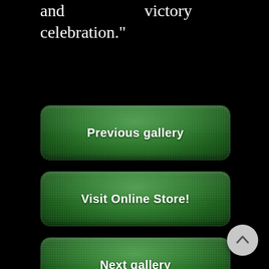and victory celebration."
Previous gallery
Visit Online Store!
Next gallery